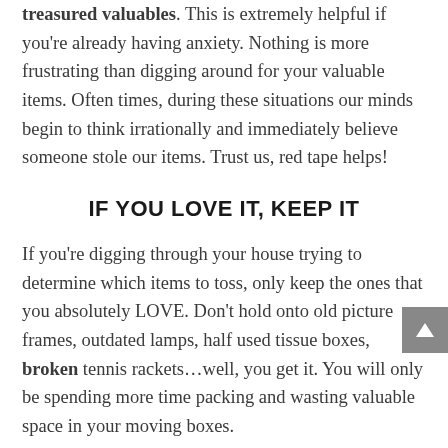treasured valuables. This is extremely helpful if you're already having anxiety. Nothing is more frustrating than digging around for your valuable items. Often times, during these situations our minds begin to think irrationally and immediately believe someone stole our items. Trust us, red tape helps!
IF YOU LOVE IT, KEEP IT
If you're digging through your house trying to determine which items to toss, only keep the ones that you absolutely LOVE. Don't hold onto old picture frames, outdated lamps, half used tissue boxes, broken tennis rackets…well, you get it. You will only be spending more time packing and wasting valuable space in your moving boxes.